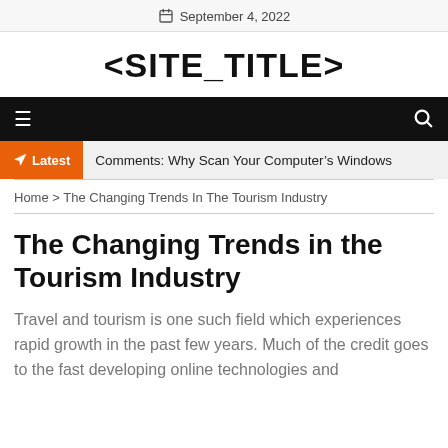September 4, 2022
<SITE_TITLE>
≡  🔍
Latest  Comments: Why Scan Your Computer's Windows
Home > The Changing Trends In The Tourism Industry
The Changing Trends in the Tourism Industry
Travel and tourism is one such field which experiences rapid growth in the past few years. Much of the credit goes to the fast developing online technologies and